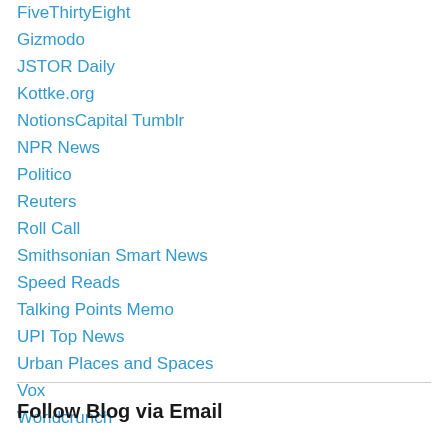FiveThirtyEight
Gizmodo
JSTOR Daily
Kottke.org
NotionsCapital Tumblr
NPR News
Politico
Reuters
Roll Call
Smithsonian Smart News
Speed Reads
Talking Points Memo
UPI Top News
Urban Places and Spaces
Vox
Worldcrunch
Follow Blog via Email